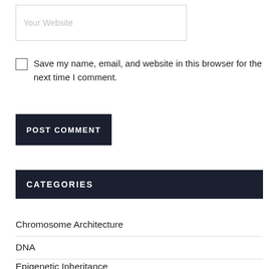Your Website
Save my name, email, and website in this browser for the next time I comment.
POST COMMENT
CATEGORIES
Chromosome Architecture
DNA
Epigenetic Inheritance